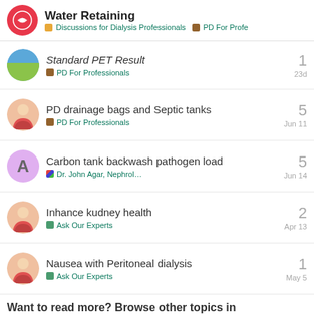Water Retaining — Discussions for Dialysis Professionals | PD For Profe
Standard PET Result — PD For Professionals — 1 reply — 23d
PD drainage bags and Septic tanks — PD For Professionals — 5 replies — Jun 11
Carbon tank backwash pathogen load — Dr. John Agar, Nephrol… — 5 replies — Jun 14
Inhance kudney health — Ask Our Experts — 2 replies — Apr 13
Nausea with Peritoneal dialysis — Ask Our Experts — 1 reply — May 5
Want to read more? Browse other topics in PD For Profession… or view latest topics.